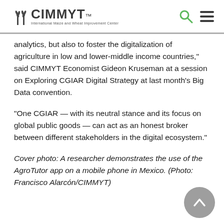CIMMYT – International Maize and Wheat Improvement Center
analytics, but also to foster the digitalization of agriculture in low and lower-middle income countries,” said CIMMYT Economist Gideon Kruseman at a session on Exploring CGIAR Digital Strategy at last month’s Big Data convention.
“One CGIAR — with its neutral stance and its focus on global public goods — can act as an honest broker between different stakeholders in the digital ecosystem.”
Cover photo: A researcher demonstrates the use of the AgroTutor app on a mobile phone in Mexico. (Photo: Francisco Alarcón/CIMMYT)